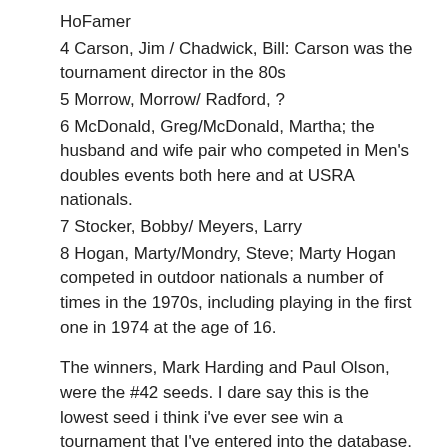HoFamer
4 Carson, Jim / Chadwick, Bill: Carson was the tournament director in the 80s
5 Morrow, Morrow/ Radford, ?
6 McDonald, Greg/McDonald, Martha; the husband and wife pair who competed in Men's doubles events both here and at USRA nationals.
7 Stocker, Bobby/ Meyers, Larry
8 Hogan, Marty/Mondry, Steve; Marty Hogan competed in outdoor nationals a number of times in the 1970s, including playing in the first one in 1974 at the age of 16.
The winners, Mark Harding and Paul Olson, were the #42 seeds. I dare say this is the lowest seed i think i've ever see win a tournament that I've entered into the database. They also won in 1985 as a team.
Here's the Singles draw in the database: